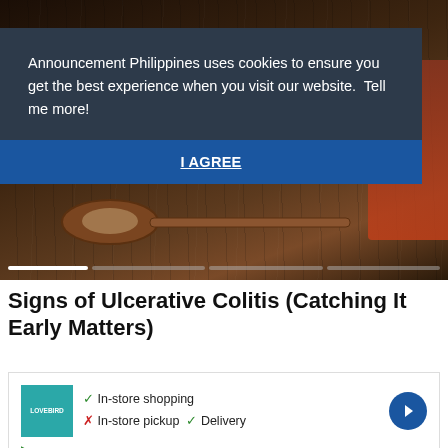[Figure (photo): Dark moody hero image of wooden spoon with food on dark wood surface, partially obscured by cookie consent banner]
Announcement Philippines uses cookies to ensure you get the best experience when you visit our website.  Tell me more!
I AGREE
Signs of Ulcerative Colitis (Catching It Early Matters)
[Figure (screenshot): Advertisement showing a store with logo, checkmark for In-store shopping, X for In-store pickup, checkmark for Delivery, and navigation arrow icon]